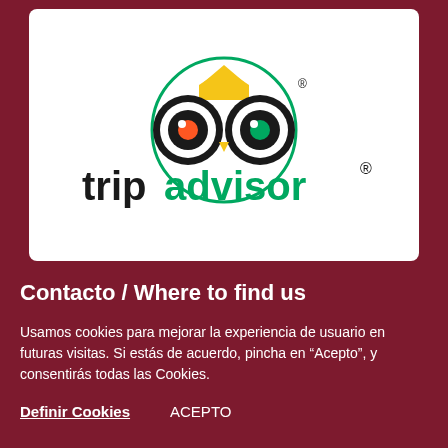[Figure (logo): TripAdvisor logo — owl icon with yellow beak, black and white circular eyes (left eye has orange dot, right eye has green dot), inside a green circle outline, above the text 'tripadvisor' in black and green with registered trademark symbol]
Contacto / Where to find us
Usamos cookies para mejorar la experiencia de usuario en futuras visitas. Si estás de acuerdo, pincha en “Acepto”, y consentirás todas las Cookies.
Definir Cookies   ACEPTO